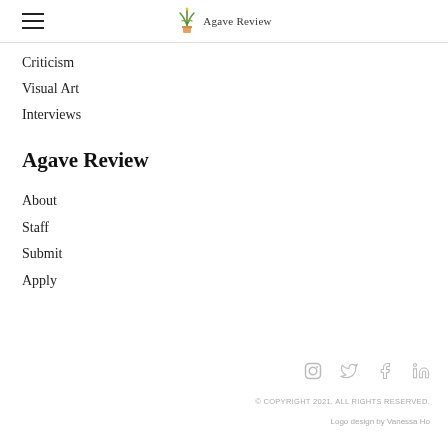Agave Review
Criticism
Visual Art
Interviews
Agave Review
About
Staff
Submit
Apply
[Figure (infographic): Social media icons: Instagram, Twitter, Facebook, LinkedIn in gray]
© COPYRIGHT 2021. ALL RIGHTS RESERVED.
Logo design by Vanessa Ho